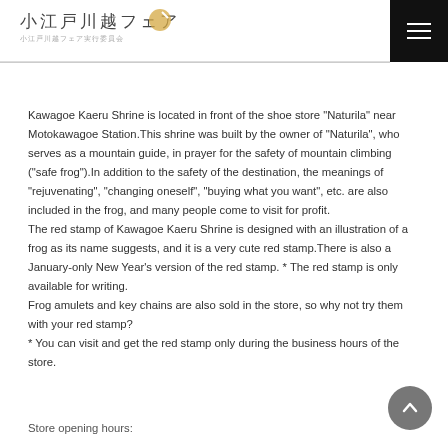小江戸川越フェア
Kawagoe Kaeru Shrine is located in front of the shoe store "Naturila" near Motokawagoe Station.This shrine was built by the owner of "Naturila", who serves as a mountain guide, in prayer for the safety of mountain climbing ("safe frog").In addition to the safety of the destination, the meanings of "rejuvenating", "changing oneself", "buying what you want", etc. are also included in the frog, and many people come to visit for profit.
The red stamp of Kawagoe Kaeru Shrine is designed with an illustration of a frog as its name suggests, and it is a very cute red stamp.There is also a January-only New Year's version of the red stamp. * The red stamp is only available for writing.
Frog amulets and key chains are also sold in the store, so why not try them with your red stamp?
* You can visit and get the red stamp only during the business hours of the store.
Store opening hours: